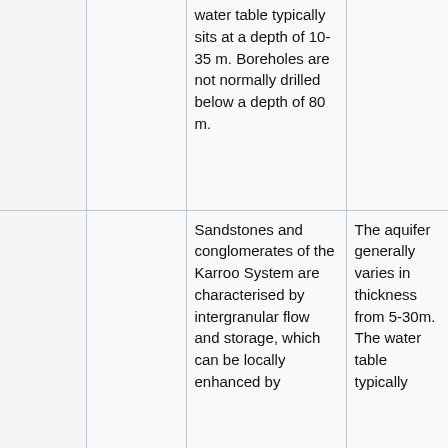|  |  | water table typically sits at a depth of 10-35 m. Boreholes are not normally drilled below a depth of 80 m. |  |
|  |  | Sandstones and conglomerates of the Karroo System are characterised by intergranular flow and storage, which can be locally enhanced by | The aquifer generally varies in thickness from 5-30m. The water table typically |